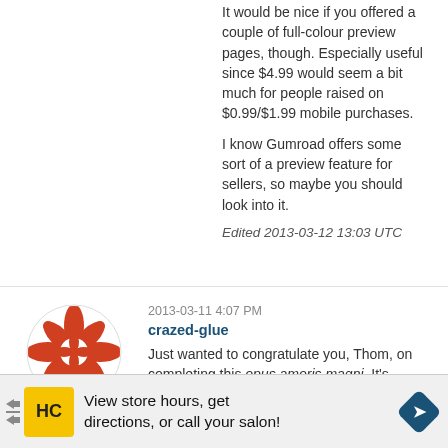It would be nice if you offered a couple of full-colour preview pages, though. Especially useful since $4.99 would seem a bit much for people raised on $0.99/$1.99 mobile purchases.
I know Gumroad offers some sort of a preview feature for sellers, so maybe you should look into it.
Edited 2013-03-12 13:03 UTC
2013-03-11 4:07 PM
crazed-glue
Just wanted to congratulate you, Thom, on completing this opus amoris magni. It's inspiring to see tech histories like this that weave diligent historical research with a competent understanding of the technical
[Figure (illustration): Circular avatar with red geometric floral/snowflake pattern on white background]
View store hours, get directions, or call your salon!